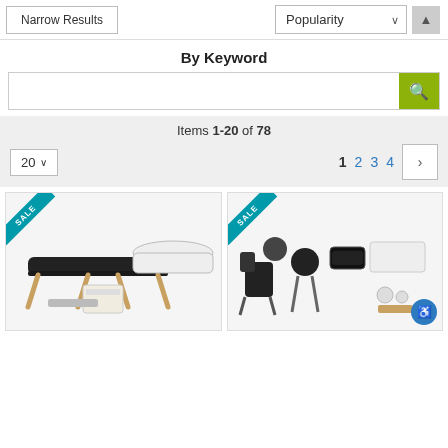Narrow Results
Popularity
By Keyword
Items 1-20 of 78
20
1 2 3 4
[Figure (photo): Massage table product with accessories, SALE badge in teal corner]
[Figure (photo): Massage chair and accessories set, SALE badge in teal corner]